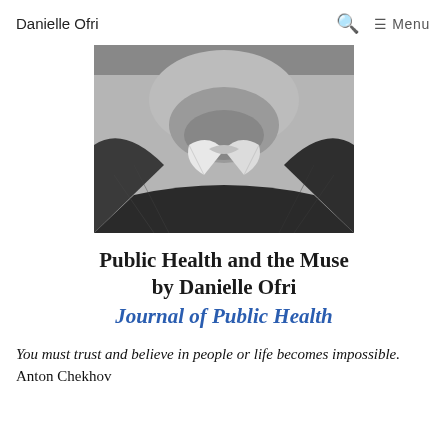Danielle Ofri   🔍  ≡ Menu
[Figure (photo): Black and white photograph of Anton Chekhov, cropped to show neck/collar area and lower face with beard, wearing a suit and bow tie]
Public Health and the Muse by Danielle Ofri Journal of Public Health
You must trust and believe in people or life becomes impossible.
Anton Chekhov